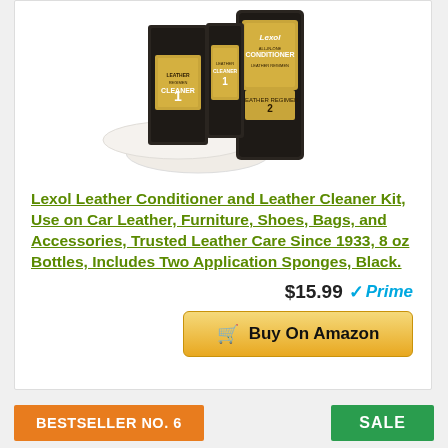[Figure (photo): Product photo of Lexol Leather Conditioner and Leather Cleaner Kit with two dark bottles and two white sponges]
Lexol Leather Conditioner and Leather Cleaner Kit, Use on Car Leather, Furniture, Shoes, Bags, and Accessories, Trusted Leather Care Since 1933, 8 oz Bottles, Includes Two Application Sponges, Black.
$15.99 Prime
Buy On Amazon
BESTSELLER NO. 6
SALE